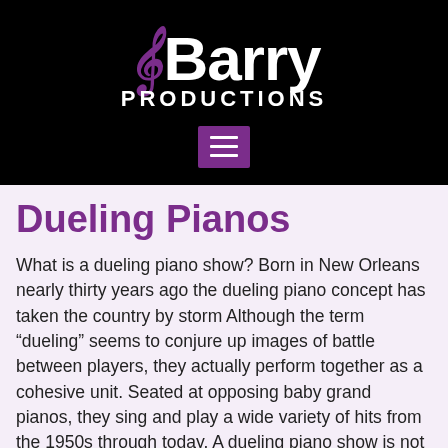[Figure (logo): Barry Productions logo with purple music note and white text on black background, with purple hamburger menu button below]
Dueling Pianos
What is a dueling piano show? Born in New Orleans nearly thirty years ago the dueling piano concept has taken the country by storm Although the term “dueling” seems to conjure up images of battle between players, they actually perform together as a cohesive unit. Seated at opposing baby grand pianos, they sing and play a wide variety of hits from the 1950s through today. A dueling piano show is not a concert. They take popular songs, often requested by the